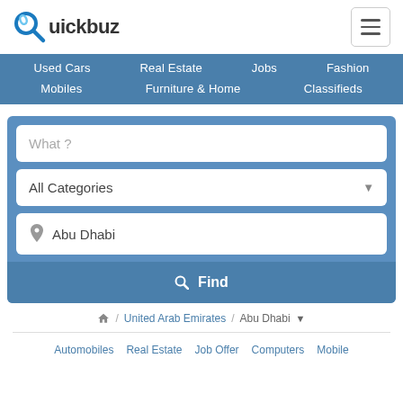Quickbuz
[Figure (logo): Quickbuz logo with blue magnifying glass icon and bold text 'Quickbuz']
Used Cars  Real Estate  Jobs  Fashion  Mobiles  Furniture & Home  Classifieds
What ?
All Categories
Abu Dhabi
Find
United Arab Emirates / Abu Dhabi
Automobiles  Real Estate  Job Offer  Computers  Mobile